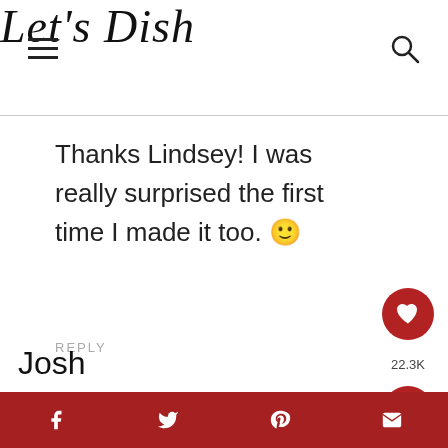Let's Dish
Thanks Lindsey! I was really surprised the first time I made it too. 🙂
REPLY
Josh